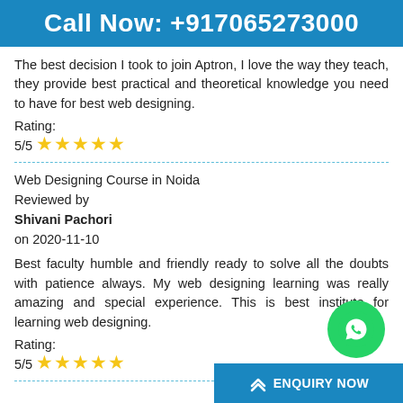Call Now: +917065273000
The best decision I took to join Aptron, I love the way they teach, they provide best practical and theoretical knowledge you need to have for best web designing.
Rating:
5/5 ★★★★★
Web Designing Course in Noida
Reviewed by
Shivani Pachori
on 2020-11-10
Best faculty humble and friendly ready to solve all the doubts with patience always. My web designing learning was really amazing and special experience. This is best institute for learning web designing.
Rating:
5/5 ★★★★★
[Figure (logo): WhatsApp button icon (green circle with white phone/chat icon)]
ENQUIRY NOW